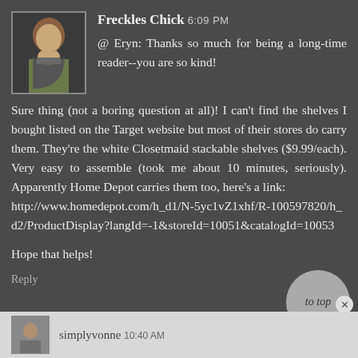[Figure (photo): Profile photo of a woman sitting, wearing a grey top, with a green background]
Freckles Chick 6:09 PM
@ Eryn: Thanks so much for being a long-time reader--you are so kind!

Sure thing (not a boring question at all)! I can't find the shelves I bought listed on the Target website but most of their stores do carry them. They're the white Closetmaid stackable shelves ($9.99/each). Very easy to assemble (took me about 10 minutes, seriously). Apparently Home Depot carries them too, here's a link:
http://www.homedepot.com/h_d1/N-5yc1vZ1xhf/R-100597820/h_d2/ProductDisplay?langId=-1&storeId=10051&catalogId=10053

Hope that helps!
Reply
to top
[Figure (photo): Small profile thumbnail of another commenter]
simplyvonne 10:40 AM